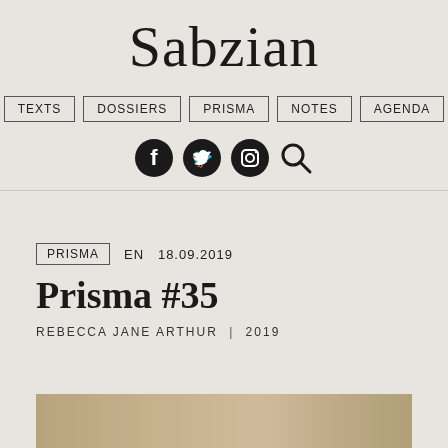Sabzian
[Figure (screenshot): Navigation menu with items: TEXTS, DOSSIERS, PRISMA, NOTES, AGENDA in bordered boxes]
[Figure (infographic): Social media icons: Facebook, Twitter, Instagram circles, and a search magnifier icon]
PRISMA  EN  18.09.2019
Prisma #35
REBECCA JANE ARTHUR | 2019
[Figure (photo): Partial bottom image strip showing warm beige/tan tones, appears to be a photograph cropped at page bottom]